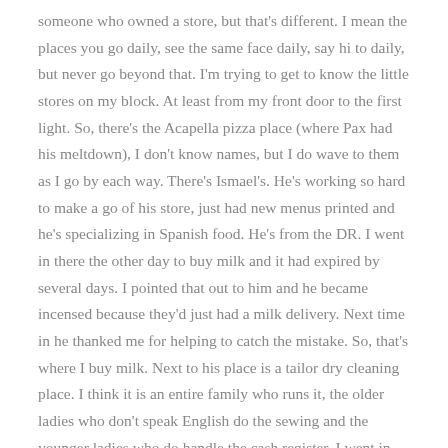someone who owned a store, but that's different. I mean the places you go daily, see the same face daily, say hi to daily, but never go beyond that. I'm trying to get to know the little stores on my block. At least from my front door to the first light. So, there's the Acapella pizza place (where Pax had his meltdown), I don't know names, but I do wave to them as I go by each way. There's Ismael's. He's working so hard to make a go of his store, just had new menus printed and he's specializing in Spanish food. He's from the DR. I went in there the other day to buy milk and it had expired by several days. I pointed that out to him and he became incensed because they'd just had a milk delivery. Next time in he thanked me for helping to catch the mistake. So, that's where I buy milk. Next to his place is a tailor dry cleaning place. I think it is an entire family who runs it, the older ladies who don't speak English do the sewing and the younger ladies who do handle the cash register. I went in early once with dry cleaning and the older lady there and I couldn't